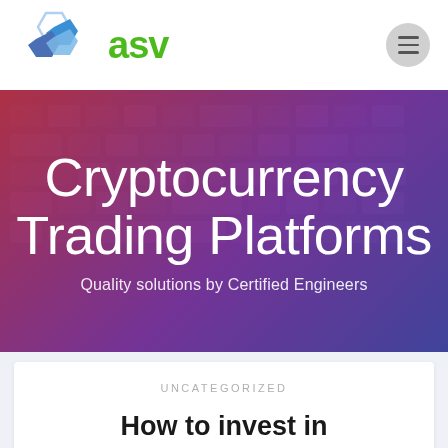[Figure (logo): ASV logo with hexagon icons in blue tones and green 'asv' text]
[Figure (photo): Hero banner with cryptocurrency trading keyboard background, overlaid with red-to-purple gradient]
Cryptocurrency Trading Platforms
Quality solutions by Certified Engineers
UNCATEGORIZED
How to invest in cryptocurrency